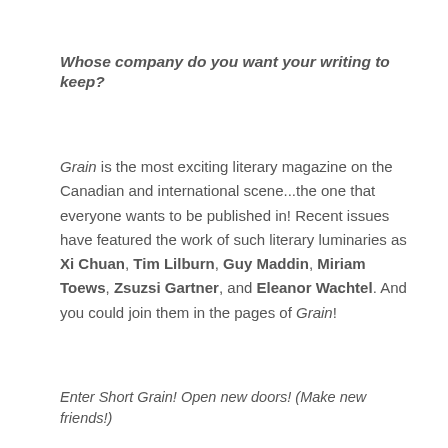Whose company do you want your writing to keep?
Grain is the most exciting literary magazine on the Canadian and international scene...the one that everyone wants to be published in! Recent issues have featured the work of such literary luminaries as Xi Chuan, Tim Lilburn, Guy Maddin, Miriam Toews, Zsuzsi Gartner, and Eleanor Wachtel. And you could join them in the pages of Grain!
Enter Short Grain! Open new doors! (Make new friends!)